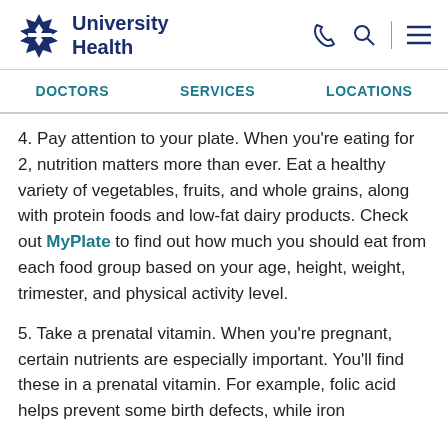University Health
DOCTORS
SERVICES
LOCATIONS
4. Pay attention to your plate. When you're eating for 2, nutrition matters more than ever. Eat a healthy variety of vegetables, fruits, and whole grains, along with protein foods and low-fat dairy products. Check out MyPlate to find out how much you should eat from each food group based on your age, height, weight, trimester, and physical activity level.
5. Take a prenatal vitamin. When you're pregnant, certain nutrients are especially important. You'll find these in a prenatal vitamin. For example, folic acid helps prevent some birth defects, while iron